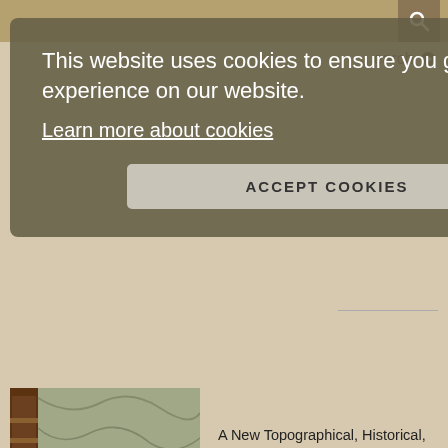This website uses cookies to ensure you get the best experience on our website.
Learn more about cookies
ACCEPT COOKIES
[Figure (photo): A vintage book with brown quarter-calf spine and marbled paper boards]
A New Topographical, Historical, and Commercial Survey of the Cities, Towns, and Villages, of the County of Kent. Arranged in Alphabetical Order. SEYMOUR, Charles.
Canterbury: Printed for the Author, 1776. [Kent Topography] FIRST EDITION. Octavo (19 x 12cm), pp.[4]; xxxvi; 828; [4]. With the folding distances chart. In recent brown quarter calf with raised bands and gilt titles to a red label on the spine. Marbled paper over boards. Textblock toned to edges, some..... More ›